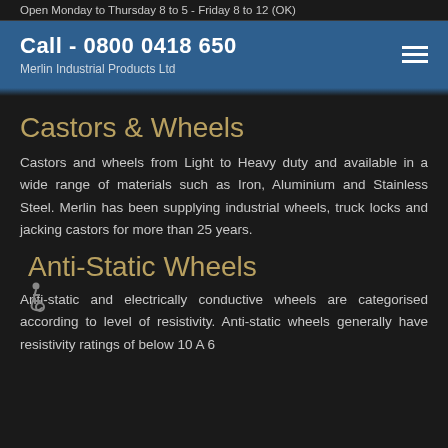Open Monday to Thursday 8 to 5 - Friday 8 to 12 (OK)
Call - 0800 0418 650
Merlin Industrial Products Ltd
Castors & Wheels
Castors and wheels from Light to Heavy duty and available in a wide range of materials such as Iron, Aluminium and Stainless Steel. Merlin has been supplying industrial wheels, truck locks and jacking castors for more than 25 years.
Anti-Static Wheels
Anti-static and electrically conductive wheels are categorised according to level of resistivity. Anti-static wheels generally have resistivity ratings of below 10 A 6